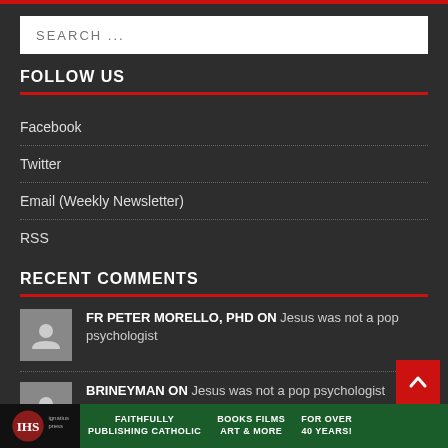SEARCH ...
FOLLOW US
Facebook
Twitter
Email (Weekly Newsletter)
RSS
RECENT COMMENTS
FR PETER MORELLO, PHD ON Jesus was not a pop psychologist
BRINEYMAN ON Jesus was not a pop psychologist